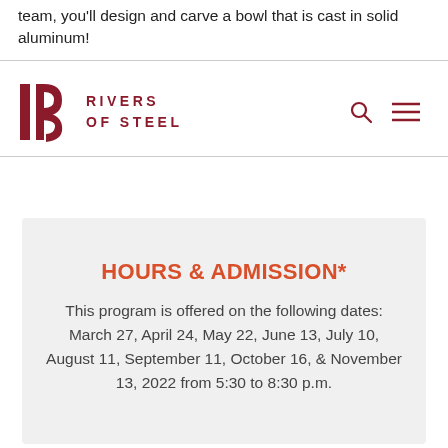team, you'll design and carve a bowl that is cast in solid aluminum!
[Figure (logo): Rivers of Steel logo — stylized RS letterform in dark red with text RIVERS OF STEEL in spaced capitals]
HOURS & ADMISSION*
This program is offered on the following dates: March 27, April 24, May 22, June 13, July 10, August 11, September 11, October 16, & November 13, 2022 from 5:30 to 8:30 p.m.